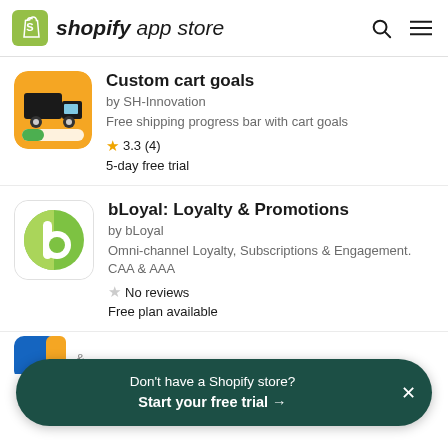[Figure (logo): Shopify App Store logo with green shopping bag icon and italic text 'shopify app store']
Custom cart goals
by SH-Innovation
Free shipping progress bar with cart goals
★ 3.3 (4)
5-day free trial
bLoyal: Loyalty & Promotions
by bLoyal
Omni-channel Loyalty, Subscriptions & Engagement. CAA & AAA
☆ No reviews
Free plan available
Don't have a Shopify store? Start your free trial →